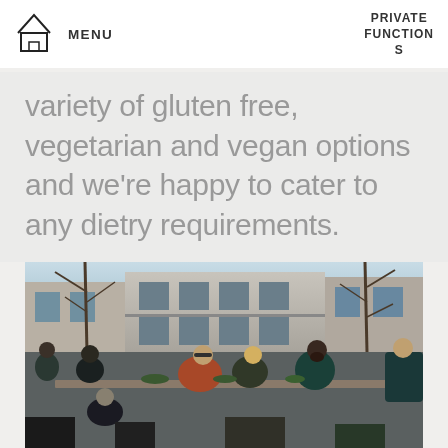MENU  PRIVATE FUNCTIONS
variety of gluten free, vegetarian and vegan options and we're happy to cater to any dietry requirements.
[Figure (photo): Outdoor dining scene with people seated at long tables in a courtyard. Stone/concrete building with large windows visible in background. Bare winter trees. People socializing, some standing, some seated. Warm sunny day.]